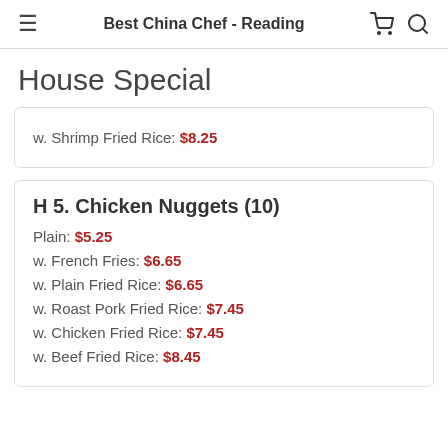Best China Chef - Reading
House Special
w. Shrimp Fried Rice: $8.25
H 5. Chicken Nuggets (10)
Plain: $5.25
w. French Fries: $6.65
w. Plain Fried Rice: $6.65
w. Roast Pork Fried Rice: $7.45
w. Chicken Fried Rice: $7.45
w. Beef Fried Rice: $8.45